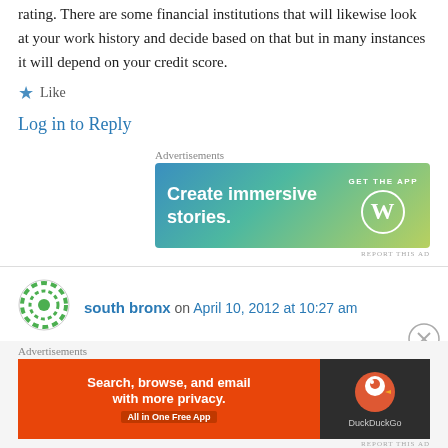rating. There are some financial institutions that will likewise look at your work history and decide based on that but in many instances it will depend on your credit score.
★ Like
Log in to Reply
Advertisements
[Figure (illustration): WordPress advertisement banner: gradient blue-green-yellow background with text 'Create immersive stories.' and 'GET THE APP' with WordPress logo]
REPORT THIS AD
south bronx on April 10, 2012 at 10:27 am
Thank you for each of your effort on this blog.
Advertisements
[Figure (illustration): DuckDuckGo advertisement banner: orange left panel 'Search, browse, and email with more privacy. All in One Free App' and dark right panel with DuckDuckGo logo]